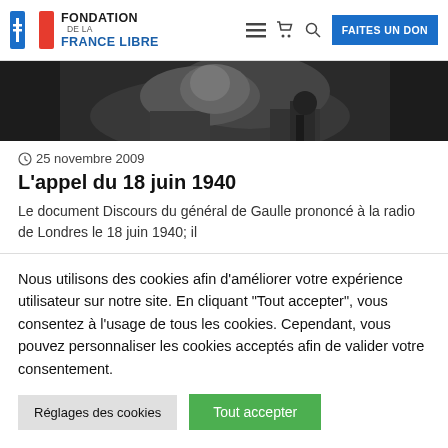[Figure (logo): Fondation de la France Libre logo with French flag and cross]
[Figure (photo): Black and white historical photo of a person at a microphone/radio equipment]
25 novembre 2009
L'appel du 18 juin 1940
Le document Discours du général de Gaulle prononcé à la radio de Londres le 18 juin 1940; il
Nous utilisons des cookies afin d'améliorer votre expérience utilisateur sur notre site. En cliquant "Tout accepter", vous consentez à l'usage de tous les cookies. Cependant, vous pouvez personnaliser les cookies acceptés afin de valider votre consentement.
Réglages des cookies
Tout accepter